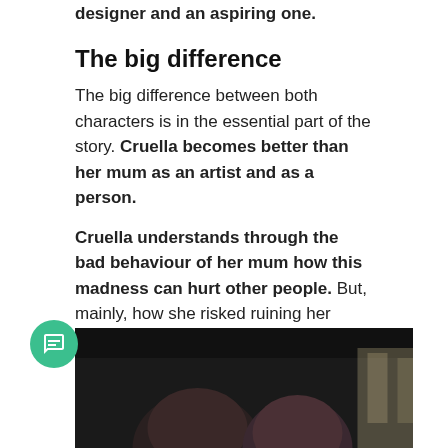designer and an aspiring one.
The big difference
The big difference between both characters is in the essential part of the story. Cruella becomes better than her mum as an artist and as a person.
Cruella understands through the bad behaviour of her mum how this madness can hurt other people. But, mainly, how she risked ruining her friendship with Horace and Jasper, the only two people who cared for her in her difficult time.
[Figure (photo): Dark photograph showing two people, partially visible, cropped at bottom of page]